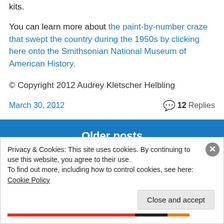kits.
You can learn more about the paint-by-number craze that swept the country during the 1950s by clicking here onto the Smithsonian National Museum of American History.
© Copyright 2012 Audrey Kletscher Helbling
March 30, 2012
12 Replies
Older posts
Privacy & Cookies: This site uses cookies. By continuing to use this website, you agree to their use.
To find out more, including how to control cookies, see here: Cookie Policy
Close and accept